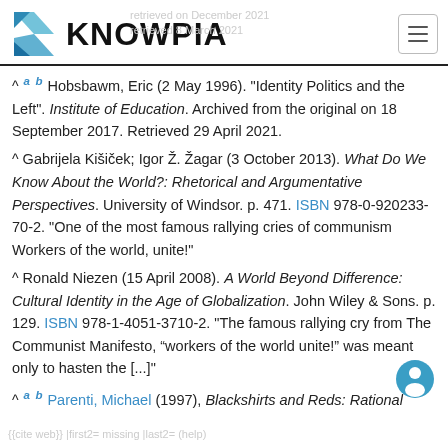KNOWPIA
^ a b Hobsbawm, Eric (2 May 1996). "Identity Politics and the Left". Institute of Education. Archived from the original on 18 September 2017. Retrieved 29 April 2021.
^ Gabrijela Kišiček; Igor Ž. Žagar (3 October 2013). What Do We Know About the World?: Rhetorical and Argumentative Perspectives. University of Windsor. p. 471. ISBN 978-0-920233-70-2. "One of the most famous rallying cries of communism Workers of the world, unite!"
^ Ronald Niezen (15 April 2008). A World Beyond Difference: Cultural Identity in the Age of Globalization. John Wiley & Sons. p. 129. ISBN 978-1-4051-3710-2. "The famous rallying cry from The Communist Manifesto, “workers of the world unite!” was meant only to hasten the [...]"
^ a b Parenti, Michael (1997), Blackshirts and Reds: Rational